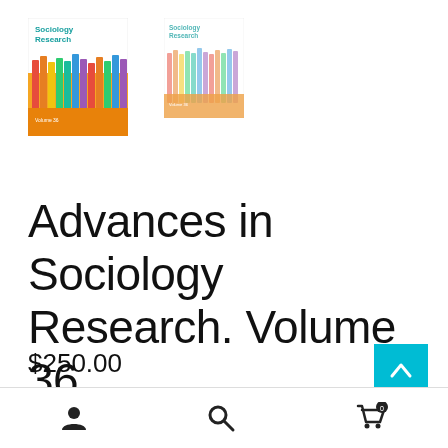[Figure (illustration): Two book covers for 'Advances in Sociology Research' — a larger one on the left showing colorful test tubes/bottles on a white background with teal title text, and a smaller slightly faded version on the right.]
Advances in Sociology Research. Volume 36
$250.00
Jared A. Jaworski (Editor)
Account | Search | Cart (0)